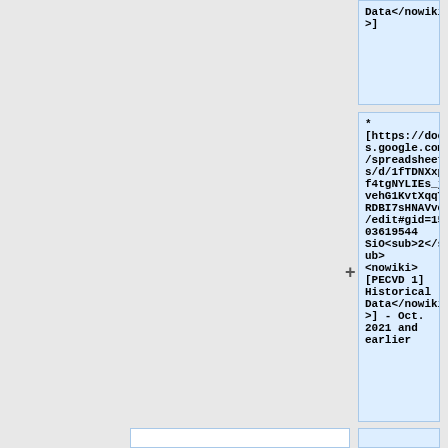Data</nowiki>]
* [https://docs.google.com/spreadsheets/d/1fTDNXxpf4tgNYLIEs_jvehG1KvtXqqTRDBI7sHNAVvo/edit#gid=1503619544 SiO<sub>2</sub><nowiki>[PECVD 1] Historical Data</nowiki>] - Oct. 2021 and earlier